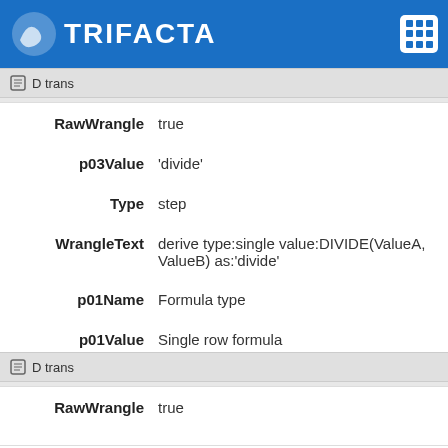D trans
| Key | Value |
| --- | --- |
| RawWrangle | true |
| p03Value | 'divide' |
| Type | step |
| WrangleText | derive type:single value:DIVIDE(ValueA, ValueB) as:'divide' |
| p01Name | Formula type |
| p01Value | Single row formula |
| p02Name | Formula |
| p02Value | DIVIDE(ValueA, ValueB) |
| p03Name | New column name |
| SearchTerm | New formula |
D trans
| Key | Value |
| --- | --- |
| RawWrangle | true |